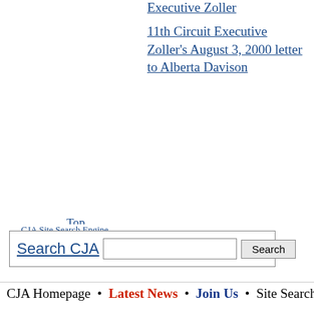Executive Zoller
11th Circuit Executive Zoller's August 3, 2000 letter to Alberta Davison
Top
CJA Site Search Engine
Search CJA [search input] Search
CJA Homepage • Latest News • Join Us • Site Search